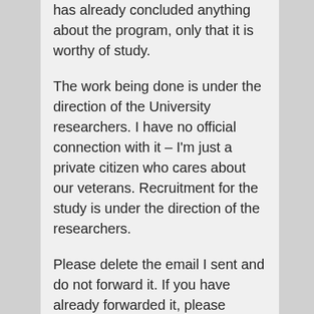has already concluded anything about the program, only that it is worthy of study.
The work being done is under the direction of the University researchers. I have no official connection with it – I'm just a private citizen who cares about our veterans. Recruitment for the study is under the direction of the researchers.
Please delete the email I sent and do not forward it. If you have already forwarded it, please forward this second message to them so they have the correct information.